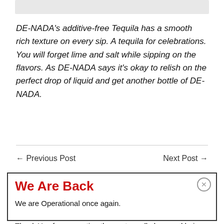DE-NADA's additive-free Tequila has a smooth rich texture on every sip. A tequila for celebrations. You will forget lime and salt while sipping on the flavors. As DE-NADA says it's okay to relish on the perfect drop of liquid and get another bottle of DE-NADA.
← Previous Post
Next Post →
We Are Back
We are Operational once again.

Thank You for supporting the venture all along and being a part of it.